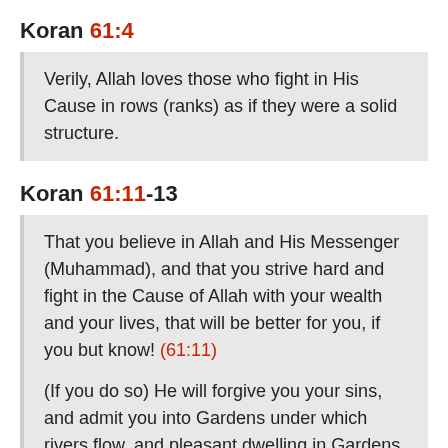Koran 61:4
Verily, Allah loves those who fight in His Cause in rows (ranks) as if they were a solid structure.
Koran 61:11-13
That you believe in Allah and His Messenger (Muhammad), and that you strive hard and fight in the Cause of Allah with your wealth and your lives, that will be better for you, if you but know! (61:11)

(If you do so) He will forgive you your sins, and admit you into Gardens under which rivers flow, and pleasant dwelling in Gardens of 'Adn -